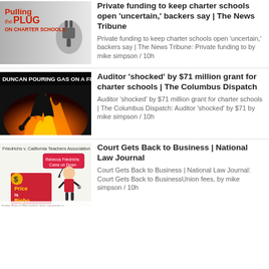[Figure (photo): Book/graphic showing 'Pulling the Plug on Charter Schools' text with a plug image]
Private funding to keep charter schools open 'uncertain,' backers say | The News Tribune
Private funding to keep charter schools open 'uncertain,' backers say | The News Tribune: Private funding to by mike simpson / 10h
[Figure (photo): Photo of silhouette pouring gas on fire with text 'Duncan Pouring Gas on a Fire?']
Auditor 'shocked' by $71 million grant for charter schools | The Columbus Dispatch
Auditor 'shocked' by $71 million grant for charter schools | The Columbus Dispatch: Auditor 'shocked' by $71 by mike simpson / 10h
[Figure (photo): Illustration about Friedrichs v. California Teachers Association court case with Price is Right parody]
Court Gets Back to Business | National Law Journal
Court Gets Back to Business | National Law Journal: Court Gets Back to BusinessUnion fees, by mike simpson / 10h